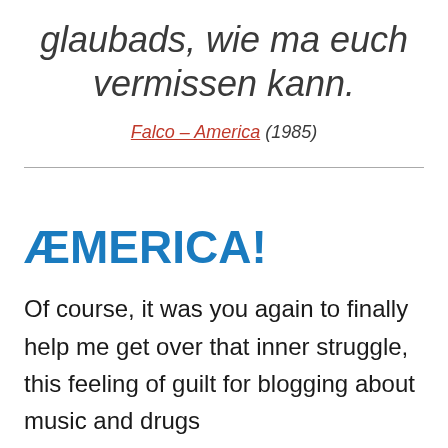glaubads, wie ma euch vermissen kann.
Falco – America (1985)
ÆMERICA!
Of course, it was you again to finally help me get over that inner struggle, this feeling of guilt for blogging about music and drugs